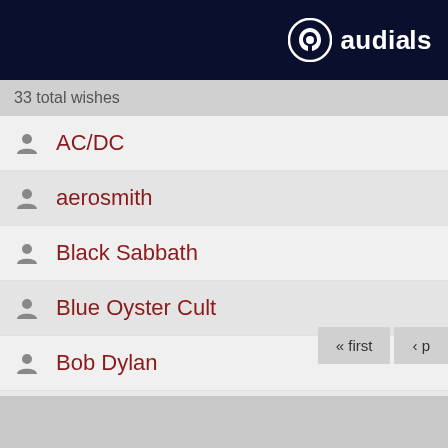audials
33 total wishes
AC/DC
aerosmith
Black Sabbath
Blue Oyster Cult
Bob Dylan
« first  ‹ p